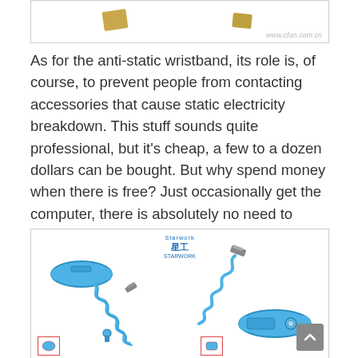[Figure (photo): Top portion of an image showing gold-colored items with a watermark reading www.cfan.com.cn]
As for the anti-static wristband, its role is, of course, to prevent people from contacting accessories that cause static electricity breakdown. This stuff sounds quite professional, but it's cheap, a few to a dozen dollars can be bought. But why spend money when there is free? Just occasionally get the computer, there is absolutely no need to have all the tools.
[Figure (photo): Product image showing two anti-static wristbands with coiled cables and clips, displayed on white background with brand logo and thumbnail images at bottom.]